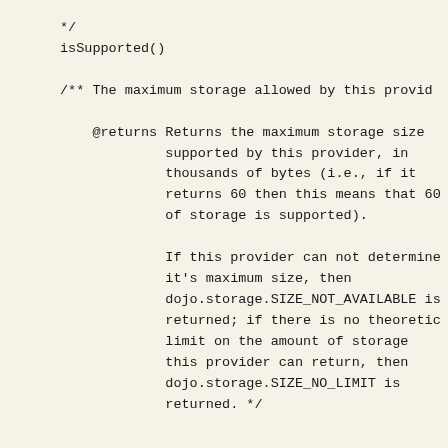*/
isSupported()
/** The maximum storage allowed by this provid
@returns Returns the maximum storage size
            supported by this provider, in
            thousands of bytes (i.e., if it
            returns 60 then this means that 60
            of storage is supported).

            If this provider can not determine
            it's maximum size, then
            dojo.storage.SIZE_NOT_AVAILABLE is
            returned; if there is no theoretic
            limit on the amount of storage
            this provider can return, then
            dojo.storage.SIZE_NO_LIMIT is
            returned. */